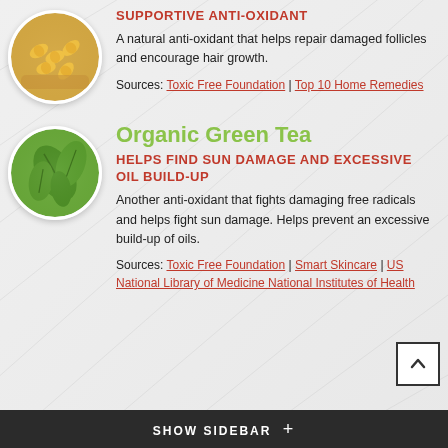[Figure (photo): Circular photo of golden supplement capsules/pills on a wooden spoon, top portion cropped]
SUPPORTIVE ANTI-OXIDANT
A natural anti-oxidant that helps repair damaged follicles and encourage hair growth.
Sources: Toxic Free Foundation | Top 10 Home Remedies
[Figure (photo): Circular photo of fresh green tea leaves]
Organic Green Tea
HELPS FIND SUN DAMAGE AND EXCESSIVE OIL BUILD-UP
Another anti-oxidant that fights damaging free radicals and helps fight sun damage. Helps prevent an excessive build-up of oils.
Sources: Toxic Free Foundation | Smart Skincare | US National Library of Medicine National Institutes of Health
SHOW SIDEBAR +